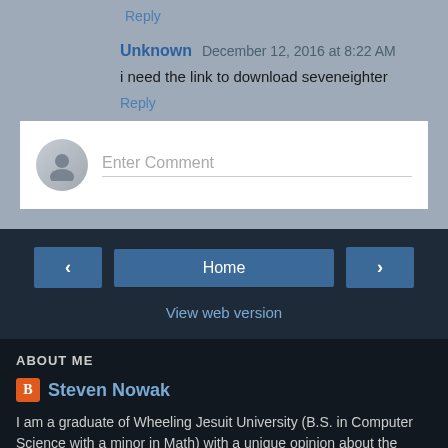Reply
Unknown  December 12, 2016 at 8:22 AM
i need the link to download seveneighter
Reply
Enter Comment
Home
View web version
ABOUT ME
Steven Nowak
I am a graduate of Wheeling Jesuit University (B.S. in Computer Science with a minor in Math) with a unique opinion about the many